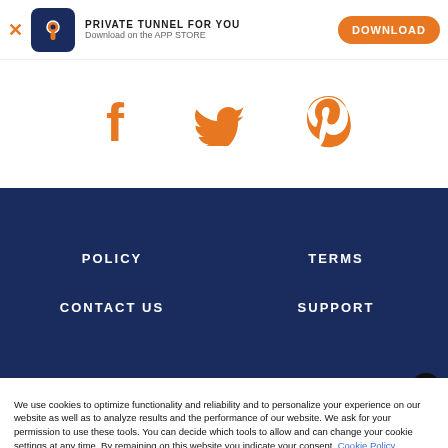[Figure (screenshot): App banner with close button, VPN app icon, 'PRIVATE TUNNEL FOR YOU' title, 'Download on the APP STORE' subtitle, and orange DOWNLOAD button]
[Figure (infographic): Three orange social media icons: Facebook (f), Twitter (bird), Pinterest (P)]
POLICY
TERMS
CONTACT US
SUPPORT
We use cookies to optimize functionality and reliability and to personalize your experience on our website as well as to analyze results and the performance of our website. We ask for your permission to use these tools. You can decide which tools to allow and can change your cookie settings at any time. By remaining on this website you indicate your consent. Cookie Policy